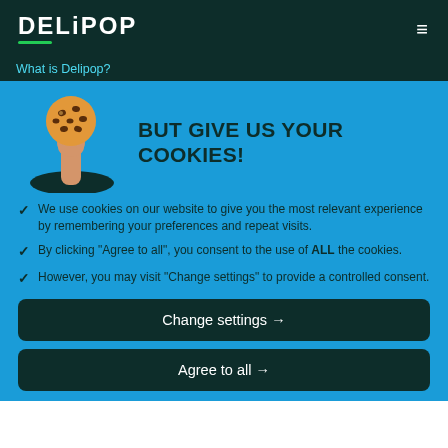DELiPOP
What is Delipop?
[Figure (illustration): A hand holding up a chocolate chip cookie emerging from a dark oval hole, on a blue background.]
BUT GIVE US YOUR COOKIES!
We use cookies on our website to give you the most relevant experience by remembering your preferences and repeat visits.
By clicking "Agree to all", you consent to the use of ALL the cookies.
However, you may visit "Change settings" to provide a controlled consent.
Change settings →
Agree to all →